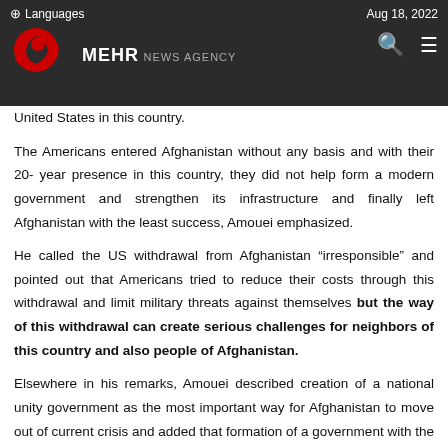Languages | Aug 18, 2022 | MEHR NEWS AGENCY
United States in this country.
The Americans entered Afghanistan without any basis and with their 20-year presence in this country, they did not help form a modern government and strengthen its infrastructure and finally left Afghanistan with the least success, Amouei emphasized.
He called the US withdrawal from Afghanistan “irresponsible” and pointed out that Americans tried to reduce their costs through this withdrawal and limit military threats against themselves but the way of this withdrawal can create serious challenges for neighbors of this country and also people of Afghanistan.
Elsewhere in his remarks, Amouei described creation of a national unity government as the most important way for Afghanistan to move out of current crisis and added that formation of a government with the presence of all ethnicities and religions through political dialogue is the only solution